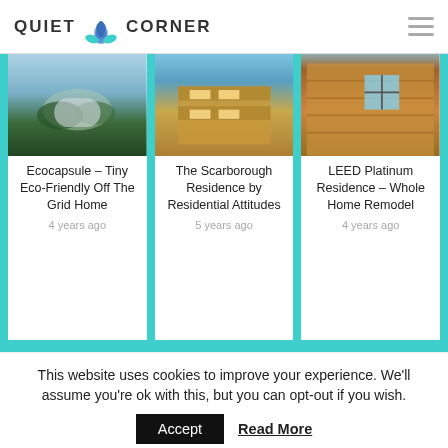QUIET CORNER
[Figure (photo): Ecocapsule eco-friendly home photo]
Ecocapsule – Tiny Eco-Friendly Off The Grid Home
4 years ago
[Figure (photo): The Scarborough Residence by Residential Attitudes photo]
The Scarborough Residence by Residential Attitudes
5 years ago
[Figure (photo): LEED Platinum Residence – Whole Home Remodel photo]
LEED Platinum Residence – Whole Home Remodel
4 years ago
This website uses cookies to improve your experience. We'll assume you're ok with this, but you can opt-out if you wish.
Accept
Read More